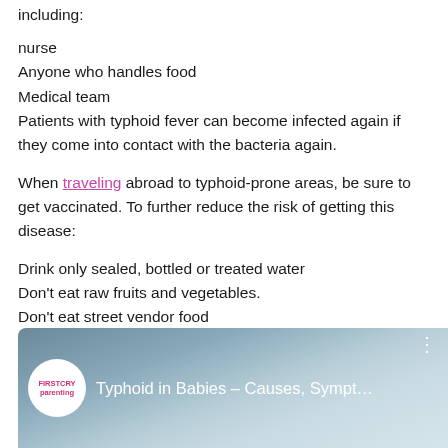including:
nurse
Anyone who handles food
Medical team
Patients with typhoid fever can become infected again if they come into contact with the bacteria again.
When traveling abroad to typhoid-prone areas, be sure to get vaccinated. To further reduce the risk of getting this disease:
Drink only sealed, bottled or treated water
Don't eat raw fruits and vegetables.
Don't eat street vendor food
[Figure (screenshot): Video thumbnail showing 'Typhoid in Babies – Causes, Sympt...' with FirstCry Parenting logo]